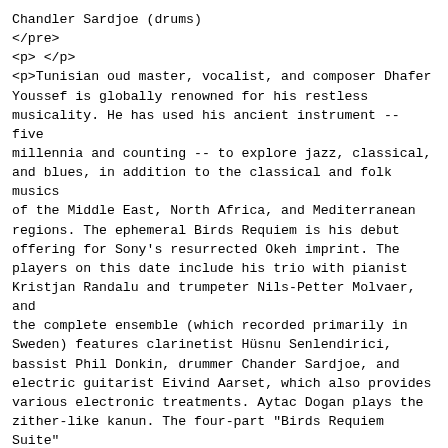Chandler Sardjoe (drums)
</pre>
<p> </p>
<p>Tunisian oud master, vocalist, and composer Dhafer Youssef is globally renowned for his restless musicality. He has used his ancient instrument -- five millennia and counting -- to explore jazz, classical, and blues, in addition to the classical and folk musics of the Middle East, North Africa, and Mediterranean regions. The ephemeral Birds Requiem is his debut offering for Sony's resurrected Okeh imprint. The players on this date include his trio with pianist Kristjan Randalu and trumpeter Nils-Petter Molvaer, and the complete ensemble (which recorded primarily in Sweden) features clarinetist Hüsnu Senlendirici, bassist Phil Donkin, drummer Chander Sardjoe, and electric guitarist Eivind Aarset, which also provides various electronic treatments. Aytac Dogan plays the zither-like kanun. The four-part "Birds Requiem Suite" is, as expected, the heart of the recording: it introduces it, plays two distinct parts in its middle section, and closes it. There are elemental theme-like qualities in each section, none of them predictable nor pat; neither do they act as mere showcases for Dhafer's virtuosity, but instead are carefully conceived ensemble pieces with the oud at their collective heart, with distinct harmonics, timbres, and interplay. There are seven other compositions as well. "Blending Souls &amp; Shades (To Shiraz)" is the set's longest track. It commences as a sparse folk lament and becomes a